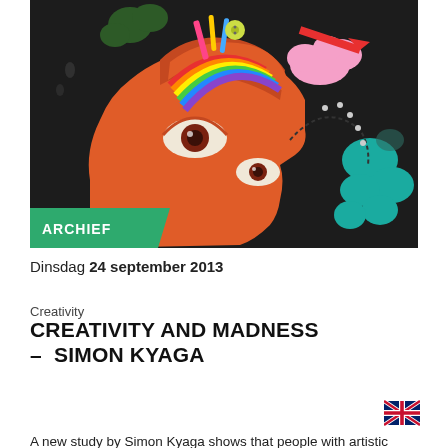[Figure (illustration): Colorful artistic illustration of a human head profile (orange/red) with top of skull open, filled with creative imagery: rainbow, art supplies, clouds, arrows, plants on a dark background. A green 'ARCHIEF' badge overlays the bottom-left corner.]
Dinsdag 24 september 2013
Creativity
CREATIVITY AND MADNESS – SIMON KYAGA
[Figure (illustration): UK/British flag icon]
A new study by Simon Kyaga shows that people with artistic or